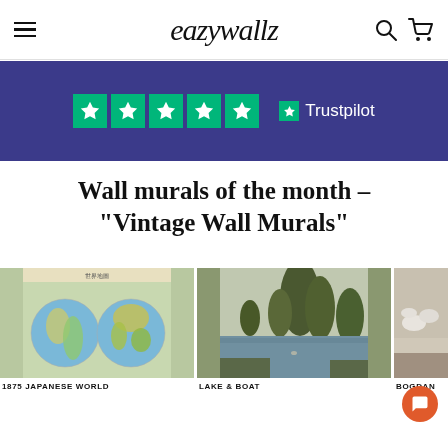eazywallz
[Figure (screenshot): Trustpilot banner with 5 green stars on dark blue/indigo background with Trustpilot logo and text]
Wall murals of the month – "Vintage Wall Murals"
[Figure (photo): 1875 Japanese world map mural product image]
1875 JAPANESE WORLD
[Figure (photo): Lake & Boat landscape mural product image]
LAKE & BOAT
[Figure (photo): Bogdan mural product image (partially visible)]
BOGDAN